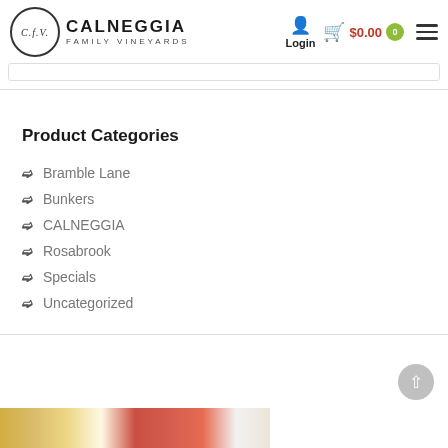Calneggia Family Vineyards — Login  $0.00
Product Categories
Bramble Lane
Bunkers
CALNEGGIA
Rosabrook
Specials
Uncategorized
[Figure (photo): Partial photo of wine bottles at the bottom of the page]